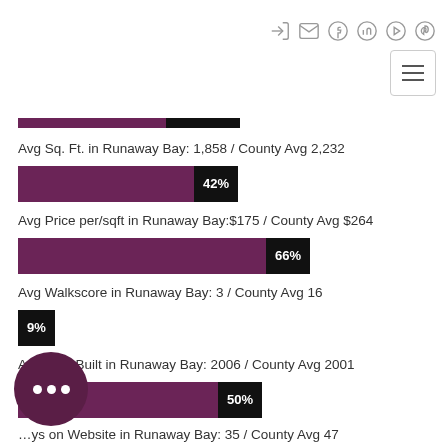Navigation icons and menu button
[Figure (bar-chart): Avg Sq. Ft. in Runaway Bay: 1,858 / County Avg 2,232]
Avg Sq. Ft. in Runaway Bay: 1,858 / County Avg 2,232
[Figure (bar-chart): Avg Price per/sqft in Runaway Bay:$175 / County Avg $264]
Avg Price per/sqft in Runaway Bay:$175 / County Avg $264
[Figure (bar-chart): Avg Walkscore in Runaway Bay: 3 / County Avg 16]
Avg Walkscore in Runaway Bay: 3 / County Avg 16
[Figure (bar-chart): Avg Year Built in Runaway Bay: 2006 / County Avg 2001]
Avg Year Built in Runaway Bay: 2006 / County Avg 2001
...ys on Website in Runaway Bay: 35 / County Avg 47